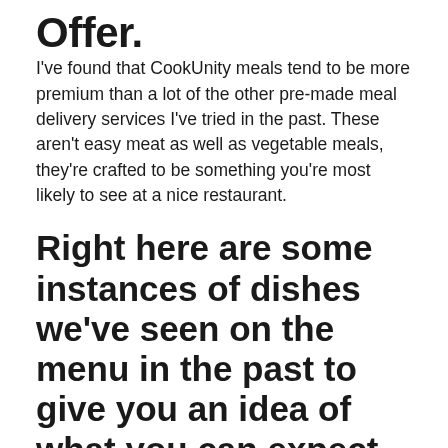Offer.
I've found that CookUnity meals tend to be more premium than a lot of the other pre-made meal delivery services I've tried in the past. These aren't easy meat as well as vegetable meals, they're crafted to be something you're most likely to see at a nice restaurant.
Right here are some instances of dishes we've seen on the menu in the past to give you an idea of what you can expect.